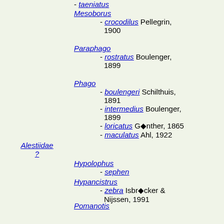- taeniatus
Mesoborus
  - crocodilus Pellegrin, 1900
Paraphago
  - rostratus Boulenger, 1899
Phago
  - boulengeri Schilthuis, 1891
  - intermedius Boulenger, 1899
  - loricatus Günther, 1865
  - maculatus Ahl, 1922
Alestiidae ?
Hypolophus
  - sephen
Hypancistrus
  - zebra Isbrücker & Nijssen, 1991
Pomanotis
  ? - rubescens Guichenot, 1847
Steindachneridion